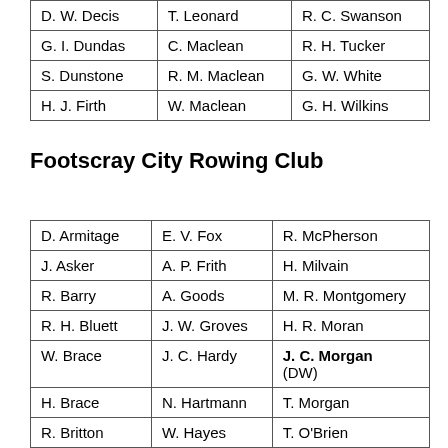| D. W. Decis | T. Leonard | R. C. Swanson |
| G. I. Dundas | C. Maclean | R. H. Tucker |
| S. Dunstone | R. M. Maclean | G. W. White |
| H. J. Firth | W. Maclean | G. H. Wilkins |
Footscray City Rowing Club
| D. Armitage | E. V. Fox | R. McPherson |
| J. Asker | A. P. Frith | H. Milvain |
| R. Barry | A. Goods | M. R. Montgomery |
| R. H. Bluett | J. W. Groves | H. R. Moran |
| W. Brace | J. C. Hardy | J. C. Morgan (DW) |
| H. Brace | N. Hartmann | T. Morgan |
| R. Britton | W. Hayes | T. O'Brien |
| L. Burns | S. Heaviside | J. O'Donohue |
| L. B... | J. Hi... | R. F. Cli... |